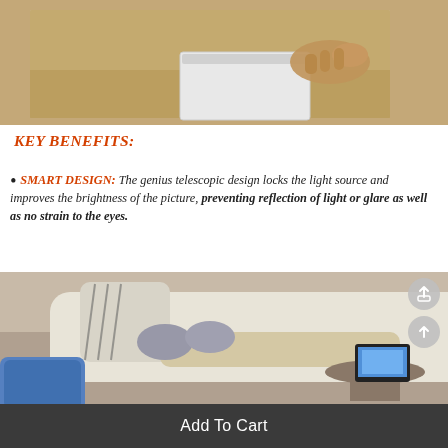[Figure (photo): Person holding a white plastic container/tray on a wooden table, viewed from above]
KEY BENEFITS:
SMART DESIGN: The genius telescopic design locks the light source and improves the brightness of the picture, preventing reflection of light or glare as well as no strain to the eyes.
[Figure (photo): Person reclining on a white sofa with feet up, wearing socks, holding a blue device; a tablet/screen on a round side table in background]
Add To Cart